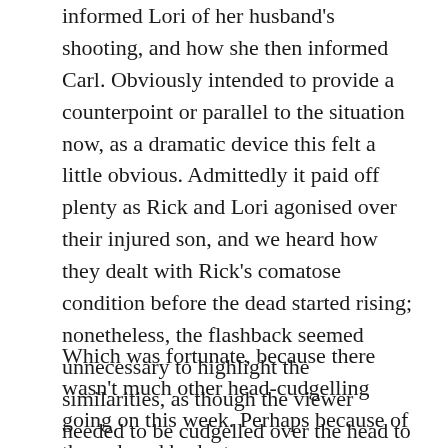informed Lori of her husband's shooting, and how she then informed Carl. Obviously intended to provide a counterpoint or parallel to the situation now, as a dramatic device this felt a little obvious. Admittedly it paid off plenty as Rick and Lori agonised over their injured son, and we heard how they dealt with Rick's comatose condition before the dead started rising; nonetheless, the flashback seemed unnecessary to highlight the similarities, as though the viewer needed to be cudgelled over the head to get the point.
Which was fortunate, because there wasn't much other head-cudgelling going on this week. Perhaps because of the reduced budget (and, let's call a spade a spade of this is a...